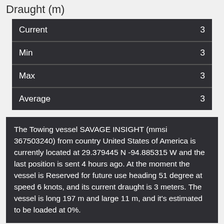Draught (m)
| Current | 3 |
| Min | 3 |
| Max | 3 |
| Average | 3 |
The Towing vessel SAVAGE INSIGHT (mmsi 367503240) from country United States of America is currently located at 29.379445 N -94.885315 W and the last position is sent 4 hours ago. At the moment the vessel is Reserved for future use heading 51 degree at speed 6 knots, and its current draught is 3 meters. The vessel is long 197 m and large 11 m, and it's estimated to be loaded at 0%.
Timeline